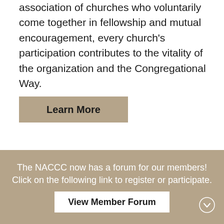association of churches who voluntarily come together in fellowship and mutual encouragement, every church's participation contributes to the vitality of the organization and the Congregational Way.
[Figure (other): Button labeled 'Learn More' with tan/beige background]
The NACCC now has a forum for our members! Click on the following link to register or participate.
[Figure (other): Button labeled 'View Member Forum' with white background inside tan footer bar]